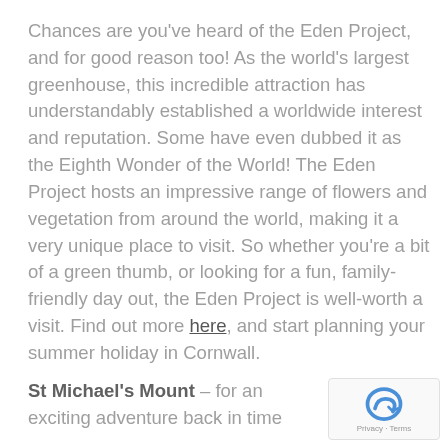Chances are you've heard of the Eden Project, and for good reason too! As the world's largest greenhouse, this incredible attraction has understandably established a worldwide interest and reputation. Some have even dubbed it as the Eighth Wonder of the World! The Eden Project hosts an impressive range of flowers and vegetation from around the world, making it a very unique place to visit. So whether you're a bit of a green thumb, or looking for a fun, family-friendly day out, the Eden Project is well-worth a visit. Find out more here, and start planning your summer holiday in Cornwall.
St Michael's Mount – for an exciting adventure back in time